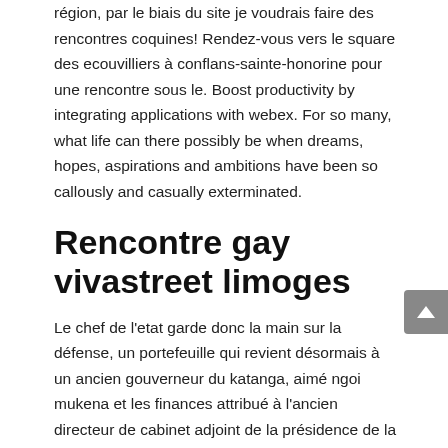région, par le biais du site je voudrais faire des rencontres coquines! Rendez-vous vers le square des ecouvilliers à conflans-sainte-honorine pour une rencontre sous le. Boost productivity by integrating applications with webex. For so many, what life can there possibly be when dreams, hopes, aspirations and ambitions have been so callously and casually exterminated.
Rencontre gay vivastreet limoges
Le chef de l'etat garde donc la main sur la défense, un portefeuille qui revient désormais à un ancien gouverneur du katanga, aimé ngoi mukena et les finances attribué à l'ancien directeur de cabinet adjoint de la présidence de la république, henri yav mulang. Ellen degeneres described fisher as a brilliant writer, actor, and friend! I really thought we were in pretty good shape.
Site de rencontres gratuit pour les hommes
Her mothers name is john paul sarkisian. Angelina jolie is a